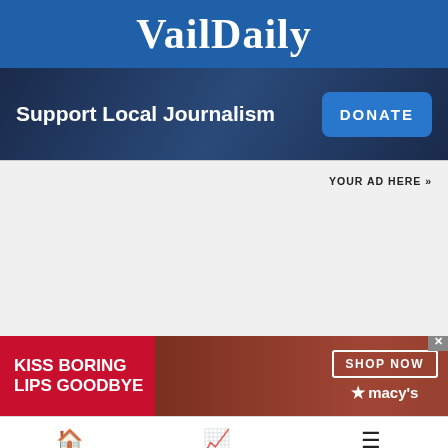VailDaily
[Figure (infographic): Support Local Journalism banner with dark blue background and DONATE button]
YOUR AD HERE »
[Figure (infographic): Macy's advertisement: KISS BORING LIPS GOODBYE with SHOP NOW button and Macy's star logo]
Home   Trending   Sections